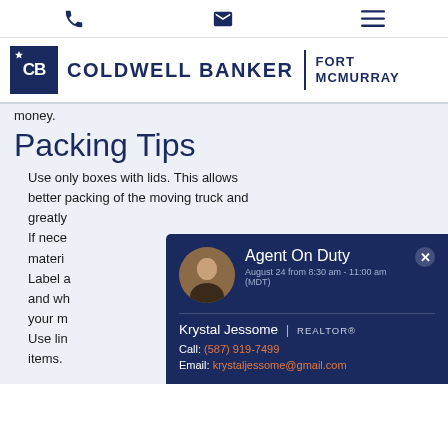Coldwell Banker Fort McMurray — navigation bar with phone, email, and menu icons
[Figure (logo): Coldwell Banker Fort McMurray logo with CB icon, wordmark, and location text]
money.
Packing Tips
Use only boxes with lids. This allows better packing of the moving truck and greatly reduces the chance of damage. If necessary, use proper packing materials. Label all boxes with their contents and which room they belong in to ensure your moving is more efficient. Use lin... items.
[Figure (infographic): Agent On Duty popup card showing Krystal Jessome, REALTOR®. August 24 from 8:30am - 11:00am (MDT). Call: (587) 919-7499. Email: krystaljessome@gmail.com]